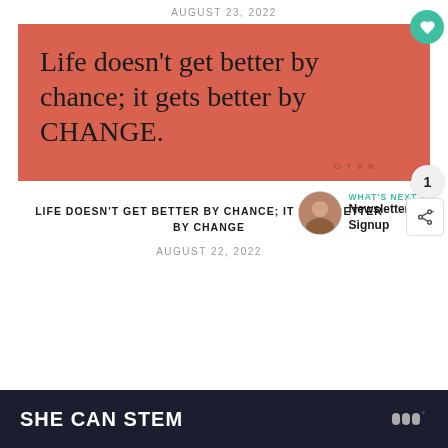AUGUST 23, 2022
[Figure (illustration): Orange/terracotta colored background with large serif text reading: Life doesn't get better by chance; it gets better by CHANGE. A small watermark stamp is visible at bottom right. A teal heart button and like count of 1 are overlaid at right edge.]
LIFE DOESN'T GET BETTER BY CHANCE; IT GETS BETTER BY CHANGE
AUGUST 22, 2022
WHAT'S NEXT → Newsletter Signup
SHE CAN STEM